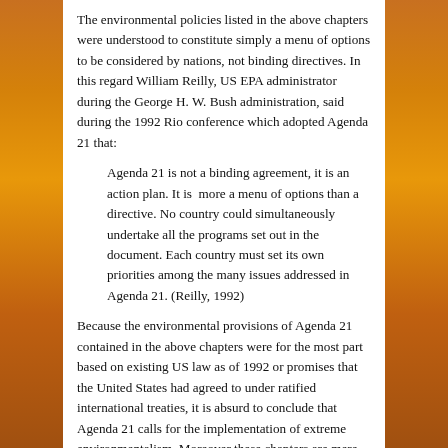The environmental policies listed in the above chapters were understood to constitute simply a menu of options to be considered by nations, not binding directives. In this regard William Reilly, US EPA administrator during the George H. W. Bush administration, said during the 1992 Rio conference which adopted Agenda 21 that:
Agenda 21 is not a binding agreement, it is an action plan. It is  more a menu of options than a directive. No country could simultaneously undertake all the programs set out in the document. Each country must set its own priorities among the many issues addressed in Agenda 21. (Reilly, 1992)
Because the environmental provisions of Agenda 21 contained in the above chapters were for the most part based on existing US law as of 1992 or promises that the United States had agreed to under ratified international treaties, it is absurd to conclude that Agenda 21 calls for the implementation of extreme environmentalism. Moreover these chapters are mere recommendations for